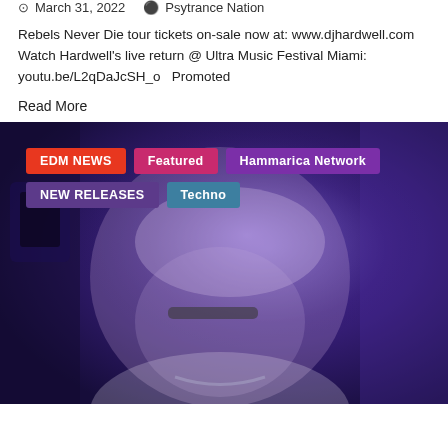March 31, 2022   Psytrance Nation
Rebels Never Die tour tickets on-sale now at: www.djhardwell.com   Watch Hardwell's live return @ Ultra Music Festival Miami: youtu.be/L2qDaJcSH_o   Promoted
Read More
[Figure (photo): A DJ performing under purple stage lighting, wearing glasses, with blond hair, viewed from above and slightly to the side. Category tags overlaid on the photo: EDM NEWS (red), Featured (pink/red), Hammarica Network (purple), NEW RELEASES (dark purple), Techno (blue-teal).]